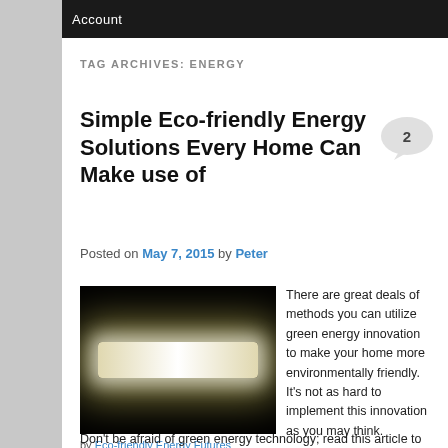Account
TAG ARCHIVES: ENERGY
Simple Eco-friendly Energy Solutions Every Home Can Make use of
Posted on May 7, 2015 by Peter
[Figure (photo): Photo of a fluorescent light tube glowing brightly against a dark black background]
by Eco-friendly Energy Futures
There are great deals of methods you can utilize green energy innovation to make your home more environmentally friendly. It's not as hard to implement this innovation as you may think. Don't be afraid of green energy technology; read this article to obtain some ideas to assist you create a